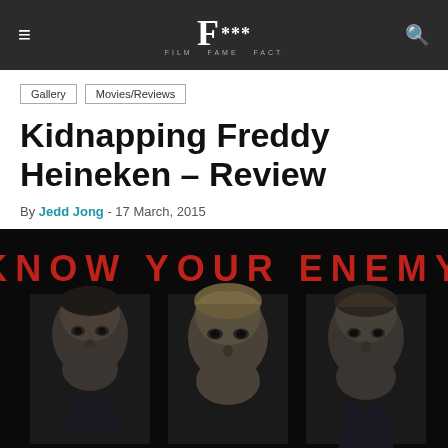F*** Film Fame Fact
Gallery | Movies/Reviews
Kidnapping Freddy Heineken – Review
By Jedd Jong - 17 March, 2015
[Figure (photo): Movie promotional poster for Kidnapping Freddy Heineken. Dark background with 'KNOW YOUR ENEMY' in bold red text. Three male actors shown in close-up portrait panels.]